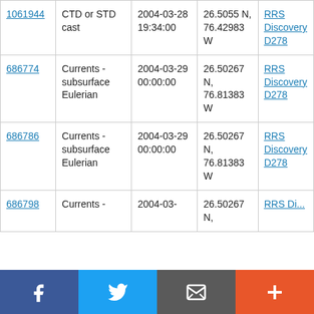| 1061944 | CTD or STD cast | 2004-03-28 19:34:00 | 26.5055 N, 76.42983 W | RRS Discovery D278 |
| 686774 | Currents - subsurface Eulerian | 2004-03-29 00:00:00 | 26.50267 N, 76.81383 W | RRS Discovery D278 |
| 686786 | Currents - subsurface Eulerian | 2004-03-29 00:00:00 | 26.50267 N, 76.81383 W | RRS Discovery D278 |
| 686798 | Currents - | 2004-03- | 26.50267 N, | RRS |
[Figure (other): Social media sharing bar with Facebook, Twitter, email, and add buttons]